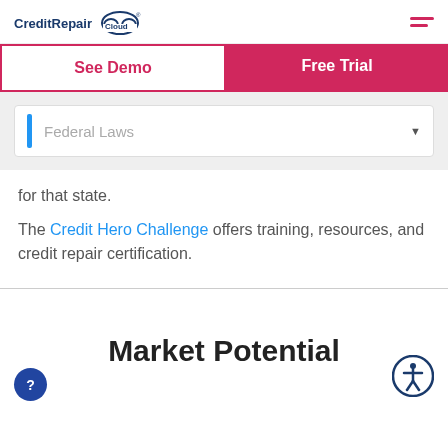CreditRepair Cloud
[Figure (screenshot): CreditRepair Cloud logo with cloud icon and navigation hamburger menu]
[Figure (screenshot): Two buttons: 'See Demo' (outlined, pink text) and 'Free Trial' (solid pink background, white text)]
[Figure (screenshot): Dropdown selector labeled 'Federal Laws' with blue left bar indicator and down arrow]
for that state.
The Credit Hero Challenge offers training, resources, and credit repair certification.
Market Potential